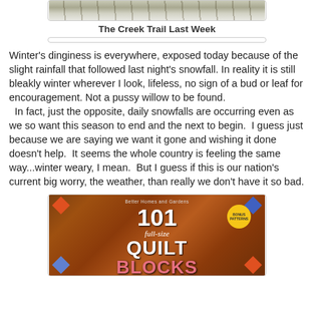[Figure (photo): Photo of a creek trail in winter with bare branches and snow]
The Creek Trail Last Week
Winter's dinginess is everywhere, exposed today because of the slight rainfall that followed last night's snowfall. In reality it is still bleakly winter wherever I look, lifeless, no sign of a bud or leaf for encouragement. Not a pussy willow to be found.
  In fact, just the opposite, daily snowfalls are occurring even as we so want this season to end and the next to begin.  I guess just because we are saying we want it gone and wishing it done doesn't help.  It seems the whole country is feeling the same way...winter weary, I mean.  But I guess if this is our nation's current big worry, the weather, than really we don't have it so bad.
[Figure (photo): Book cover: Better Homes and Gardens 101 full-size Quilt Blocks]